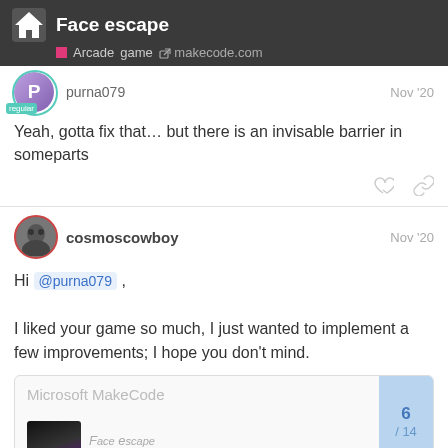Face escape | Arcade game | makecode.com
purna079   Nov '20
Yeah, gotta fix that… but there is an invisable barrier in someparts
cosmoscowboy   Nov '20
Hi @purna079 ,

I liked your game so much, I just wanted to implement a few improvements; I hope you don't mind.
[Figure (screenshot): Microsoft MakeCode embedded link/embed box with blue sidebar showing page navigation 6/14]
6 / 14